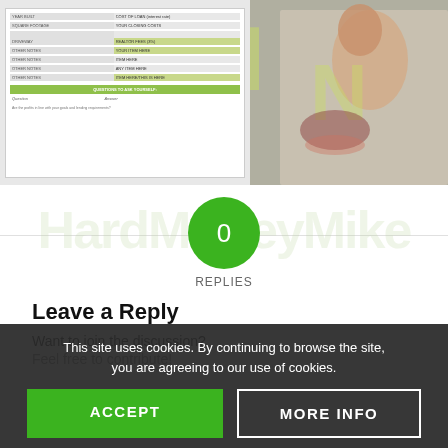[Figure (screenshot): Screenshot of a financial form/table with green header rows and labeled fields including loan information, closing costs, realtor fees, and questions-to-ask-yourself section]
[Figure (photo): Cropped photo of a person with fist raised in celebration, mouth open, with text overlay showing partial letters]
0
REPLIES
Leave a Reply
Want to join the discussion?
Feel free to contribute!
This site uses cookies. By continuing to browse the site, you are agreeing to our use of cookies.
ACCEPT
MORE INFO